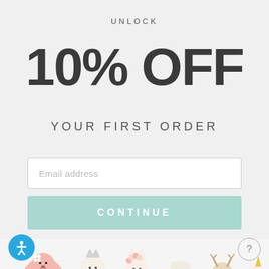UNLOCK
10% OFF
YOUR FIRST ORDER
Email address
CONTINUE
[Figure (illustration): A row of cute stuffed animal toys including a flamingo, bear with crown, bunny with flowers, cat/bear, deer, and unicorn, photographed against a light background.]